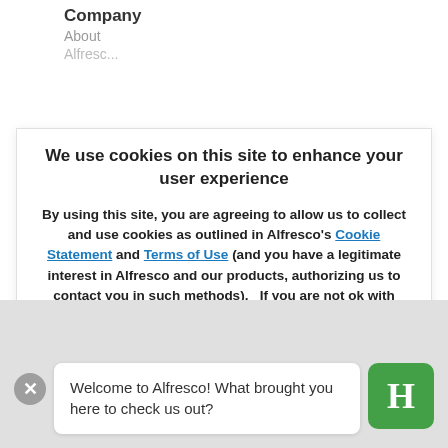Company
About
Alfresc...
We use cookies on this site to enhance your user experience
By using this site, you are agreeing to allow us to collect and use cookies as outlined in Alfresco's Cookie Statement and Terms of Use (and you have a legitimate interest in Alfresco and our products, authorizing us to contact you in such methods).   If you are not ok with these terms, please do not use this website.
OK, I agree
Find out more
Releases
Welcome to Alfresco! What brought you here to check us out?